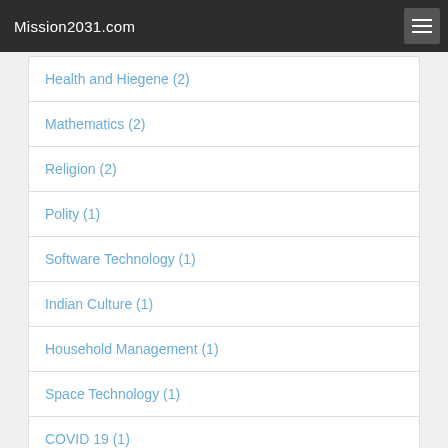Mission2031.com
Health and Hiegene (2)
Mathematics (2)
Religion (2)
Polity (1)
Software Technology (1)
Indian Culture (1)
Household Management (1)
Space Technology (1)
COVID 19 (1)